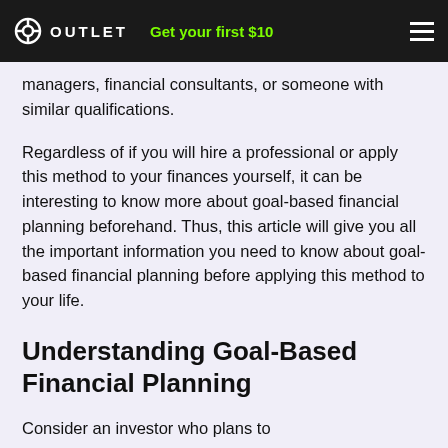OUTLET  Get your first $10
managers, financial consultants, or someone with similar qualifications.
Regardless of if you will hire a professional or apply this method to your finances yourself, it can be interesting to know more about goal-based financial planning beforehand. Thus, this article will give you all the important information you need to know about goal-based financial planning before applying this method to your life.
Understanding Goal-Based Financial Planning
Consider an investor who plans to